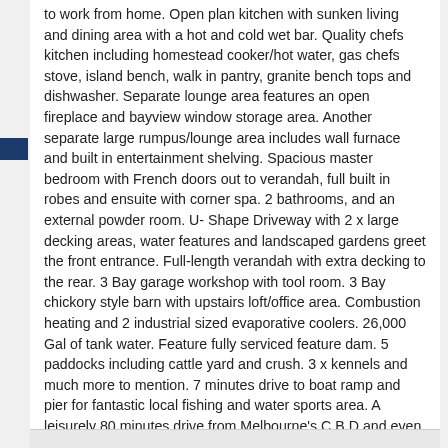to work from home. Open plan kitchen with sunken living and dining area with a hot and cold wet bar. Quality chefs kitchen including homestead cooker/hot water, gas chefs stove, island bench, walk in pantry, granite bench tops and dishwasher. Separate lounge area features an open fireplace and bayview window storage area. Another separate large rumpus/lounge area includes wall furnace and built in entertainment shelving. Spacious master bedroom with French doors out to verandah, full built in robes and ensuite with corner spa. 2 bathrooms, and an external powder room. U- Shape Driveway with 2 x large decking areas, water features and landscaped gardens greet the front entrance. Full-length verandah with extra decking to the rear. 3 Bay garage workshop with tool room. 3 Bay chickory style barn with upstairs loft/office area. Combustion heating and 2 industrial sized evaporative coolers. 26,000 Gal of tank water. Feature fully serviced feature dam. 5 paddocks including cattle yard and crush. 3 x kennels and much more to mention. 7 minutes drive to boat ramp and pier for fantastic local fishing and water sports area. A leisurely 80 minutes drive from Melbourne's C.B.D and even easier 10 minutes drive to the many pleasures offered by Phillip Island. Inspection will not disappoint.